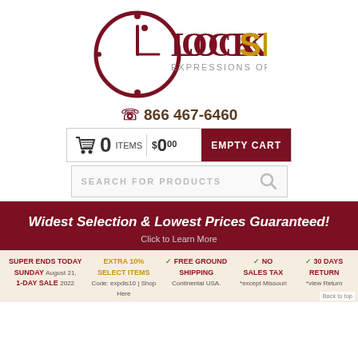[Figure (logo): Clock Shops logo with clock circle graphic, text 'LOCK SHOPS EXPRESSIONS OF TIME' in dark red and gold]
☎ 866 467-6460
[Figure (infographic): Shopping cart bar showing 0 items, $0.00, and EMPTY CART button in dark red]
[Figure (infographic): Search bar with placeholder text SEARCH FOR PRODUCTS and magnifying glass icon]
Widest Selection & Lowest Prices Guaranteed!
Click to Learn More
SUPER ENDS TODAY SUNDAY 1-DAY SALE | August 21, 2022 | EXTRA 10% SELECT ITEMS Code: expdis10 | Shop Here | ✓ FREE GROUND SHIPPING Continental USA. | ✓ NO SALES TAX *except Missouri | ✓ 30 DAYS RETURN *view Return